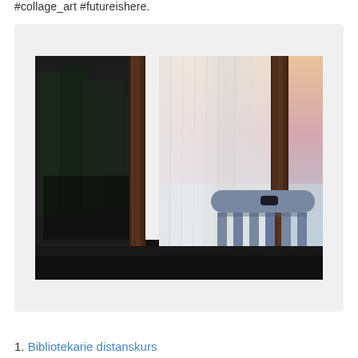#collage_art #futureishere.
[Figure (photo): Photo of a wooden chair with slatted back against a large window with white sheer curtains. Through the window panes, a outdoor scene with trees and sky at dusk is reflected. The chair is bluish-grey.]
1. Bibliotekarie distanskurs